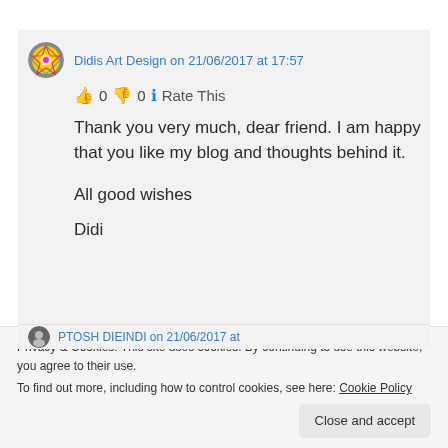Didis Art Design on 21/06/2017 at 17:57
👍 0 👎 0 ℹ Rate This
Thank you very much, dear friend. I am happy that you like my blog and thoughts behind it.

All good wishes
Didi
Privacy & Cookies: This site uses cookies. By continuing to use this website, you agree to their use.
To find out more, including how to control cookies, see here: Cookie Policy
Close and accept